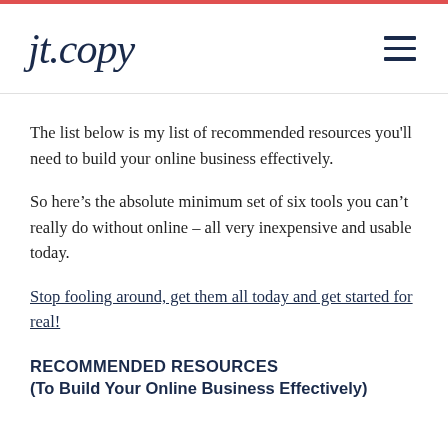jt.copy
The list below is my list of recommended resources you'll need to build your online business effectively.
So here's the absolute minimum set of six tools you can't really do without online – all very inexpensive and usable today.
Stop fooling around, get them all today and get started for real!
RECOMMENDED RESOURCES
(To Build Your Online Business Effectively)